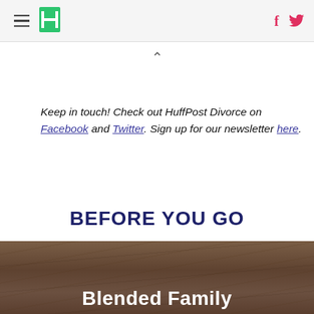HuffPost - navigation header with hamburger menu, logo, Facebook and Twitter icons
Keep in touch! Check out HuffPost Divorce on Facebook and Twitter. Sign up for our newsletter here.
BEFORE YOU GO
[Figure (photo): Brown wood-textured background image with white bold text reading 'Blended Family' partially visible at bottom]